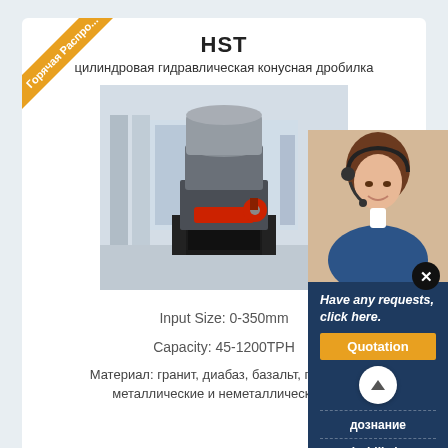HST
цилиндровая гидравлическая конусная дробилка
[Figure (photo): Large industrial HST cone crusher machine on a metal frame, grey cylindrical body with red accents, photographed in an indoor industrial setting.]
Input Size: 0-350mm
Capacity: 45-1200TPH
Материал: гранит, диабаз, базальт, галька, и металлические и неметаллические р
[Figure (photo): Customer service representative woman with headset smiling, overlaid on dark blue panel with text 'Have any requests, click here.' and a Quotation button.]
Have any requests, click here.
Quotation
дознание
drobilkalm